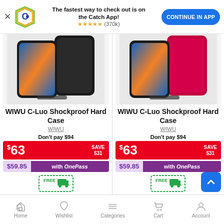[Figure (screenshot): App banner with Catch.com.au logo, text 'The fastest way to check out is on the Catch App!', star rating (370k), and 'CONTINUE IN APP' button]
[Figure (photo): WIWU C-Luo Shockproof Hard Case in black color shown on iPhone]
WIWU C-Luo Shockproof Hard Case
WIWU
Don't pay $94
$63 SAVE $31
$59.85 with OnePass
[Figure (illustration): FREE shipping badge (green truck icon)]
[Figure (photo): WIWU C-Luo Shockproof Hard Case in pink/rose color shown on iPhone]
WIWU C-Luo Shockproof Hard Case
WIWU
Don't pay $94
$63 SAVE $31
$59.85 with OnePass
[Figure (illustration): FREE shipping badge (green truck icon)]
Home   Wishlist   Categories   Cart   Account